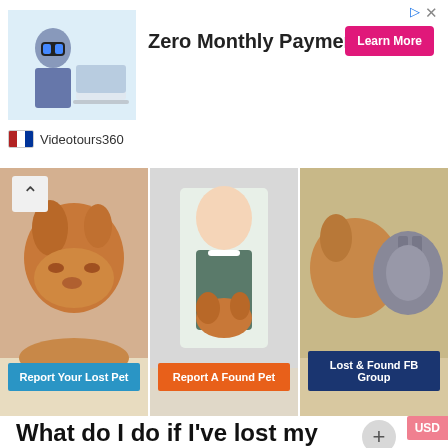[Figure (screenshot): Advertisement banner: person with VR headset and laptop image, text 'Zero Monthly Payment', pink 'Learn More' button, Videotours360 logo]
[Figure (photo): Three pet photos side by side: dog lying down, veterinarian with dog, dog and cat together]
Report Your Lost Pet
Report A Found Pet
Lost & Found FB Group
What do I do if I've lost my pet in Kingston – Greenwood NS?
PetNetID.com knows exactly how terrible and anxious it is when an animal goes missing. However, there are lots of things you can do to promptly locate and reunite with your family pet, from asking around in the Kingston – Greenwood region, calling your local veterinarian and animal shelter